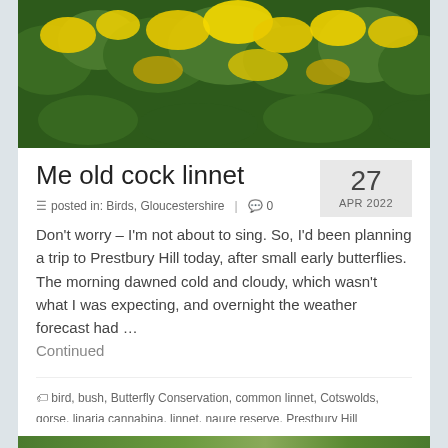[Figure (photo): Close-up photograph of yellow gorse flowers on dark green spiny bushes]
Me old cock linnet
27 APR 2022
posted in: Birds, Gloucestershire | 0
Don't worry – I'm not about to sing. So, I'd been planning a trip to Prestbury Hill today, after small early butterflies. The morning dawned cold and cloudy, which wasn't what I was expecting, and overnight the weather forecast had … Continued
bird, bush, Butterfly Conservation, common linnet, Cotswolds, gorse, linaria cannabina, linnet, naure reserve, Prestbury Hill